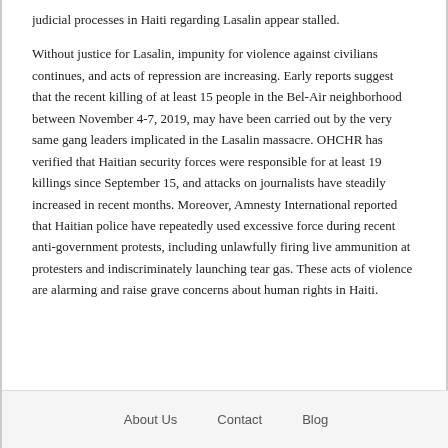judicial processes in Haiti regarding Lasalin appear stalled. Without justice for Lasalin, impunity for violence against civilians continues, and acts of repression are increasing. Early reports suggest that the recent killing of at least 15 people in the Bel-Air neighborhood between November 4-7, 2019, may have been carried out by the very same gang leaders implicated in the Lasalin massacre. OHCHR has verified that Haitian security forces were responsible for at least 19 killings since September 15, and attacks on journalists have steadily increased in recent months. Moreover, Amnesty International reported that Haitian police have repeatedly used excessive force during recent anti-government protests, including unlawfully firing live ammunition at protesters and indiscriminately launching tear gas. These acts of violence are alarming and raise grave concerns about human rights in Haiti.
About Us   Contact   Blog